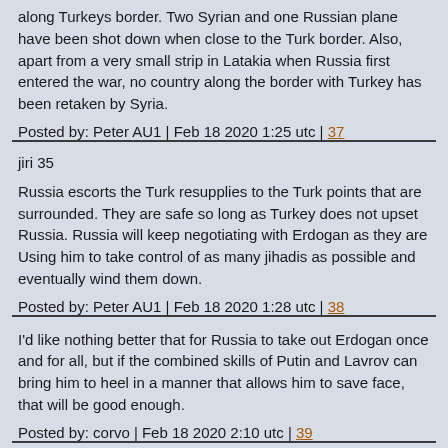along Turkeys border. Two Syrian and one Russian plane have been shot down when close to the Turk border. Also, apart from a very small strip in Latakia when Russia first entered the war, no country along the border with Turkey has been retaken by Syria.
Posted by: Peter AU1 | Feb 18 2020 1:25 utc | 37
jiri 35
Russia escorts the Turk resupplies to the Turk points that are surrounded. They are safe so long as Turkey does not upset Russia. Russia will keep negotiating with Erdogan as they are Using him to take control of as many jihadis as possible and eventually wind them down.
Posted by: Peter AU1 | Feb 18 2020 1:28 utc | 38
I'd like nothing better that for Russia to take out Erdogan once and for all, but if the combined skills of Putin and Lavrov can bring him to heel in a manner that allows him to save face, that will be good enough.
Posted by: corvo | Feb 18 2020 2:10 utc | 39
I hope that people who are following Syria's war of...